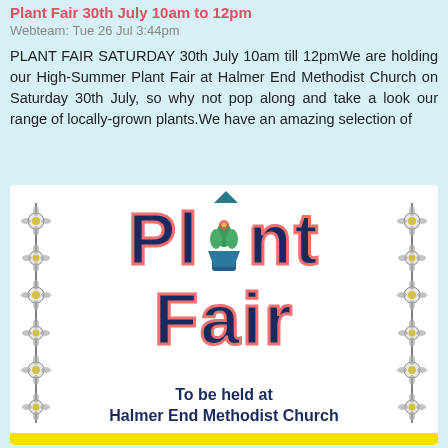Plant Fair 30th July 10am to 12pm
Webteam: Tue 26 Jul 3:44pm
PLANT FAIR SATURDAY 30th July 10am till 12pmWe are holding our High-Summer Plant Fair at Halmer End Methodist Church on Saturday 30th July, so why not pop along and take a look our range of locally-grown plants.We have an amazing selection of
[Figure (illustration): Plant Fair promotional image with large decorative text 'Plant Fair' in navy blue with pink outline, flanked by floral vine borders, and text 'To be held at Halmer End Methodist Church' at the bottom, with a yellow bar at the very bottom.]